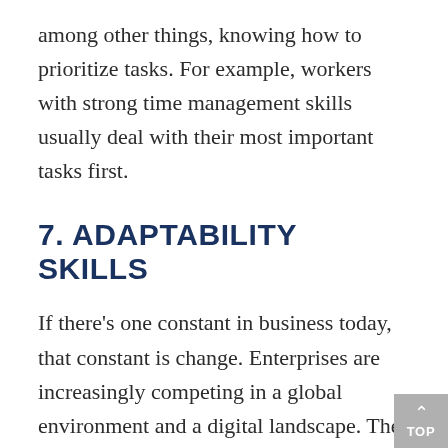among other things, knowing how to prioritize tasks. For example, workers with strong time management skills usually deal with their most important tasks first.
7. ADAPTABILITY SKILLS
If there's one constant in business today, that constant is change. Enterprises are increasingly competing in a global environment and a digital landscape. The best workers are open to change and relish the chance to learn new ways to solve intractable problems. They are, in